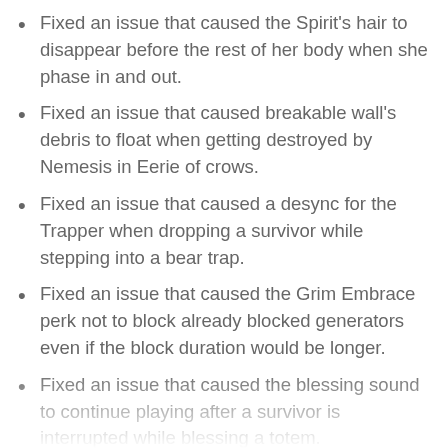Fixed an issue that caused the Spirit's hair to disappear before the rest of her body when she phase in and out.
Fixed an issue that caused breakable wall's debris to float when getting destroyed by Nemesis in Eerie of crows.
Fixed an issue that caused a desync for the Trapper when dropping a survivor while stepping into a bear trap.
Fixed an issue that caused the Grim Embrace perk not to block already blocked generators even if the block duration would be longer.
Fixed an issue that caused the blessing sound to continue playing after a survivor is interrupted while blessing a totem.
Fixed an issue that caused the dissolving SFX of Victor when dying or being crushed to sound muffled.
Fixed an issue that caused the countdown for the Skill to not continue to deplete when a player off...